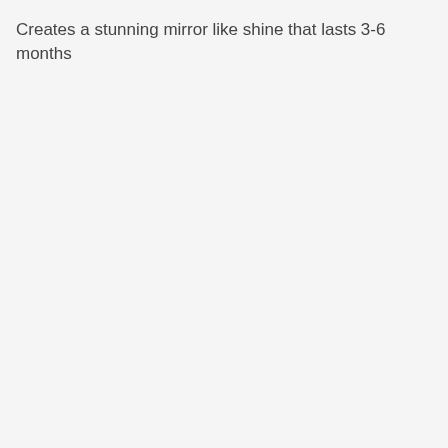Creates a stunning mirror like shine that lasts 3-6 months